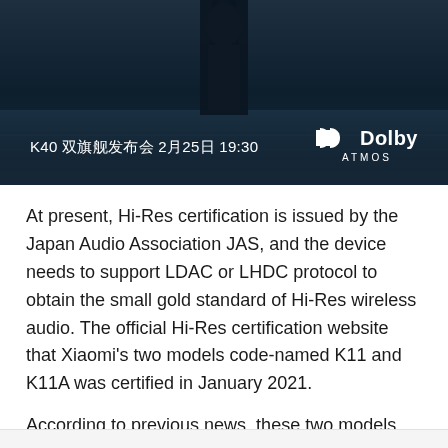[Figure (photo): Dark blue promotional banner image showing a silhouetted figure with text 'K40 双旗舰发布会 2月25日 19:30' and Dolby ATMOS logo in the bottom right corner]
At present, Hi-Res certification is issued by the Japan Audio Association JAS, and the device needs to support LDAC or LHDC protocol to obtain the small gold standard of Hi-Res wireless audio. The official Hi-Res certification website that Xiaomi's two models code-named K11 and K11A was certified in January 2021.
According to previous news, these two models are the Redmi K40 series. The series will include two models, each equipped with Qualcomm Snapdragon 870 and Snapdragon 888 processors, and all systems support a 120Hz high refresh rate.